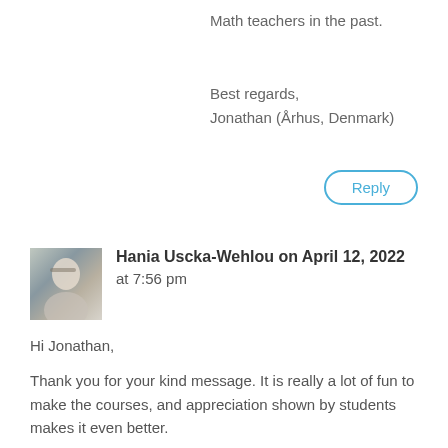Math teachers in the past.
Best regards,
Jonathan (Århus, Denmark)
[Figure (other): Reply button — rounded rectangle outline in blue with 'Reply' text in blue]
[Figure (photo): Small avatar photo of Hania Uscka-Wehlou, a woman with glasses and light hair]
Hania Uscka-Wehlou on April 12, 2022 at 7:56 pm
Hi Jonathan,
Thank you for your kind message. It is really a lot of fun to make the courses, and appreciation shown by students makes it even better.
You can start with Precalculus 1, as it contains a lot of repetition from high school, which can be a good thing after